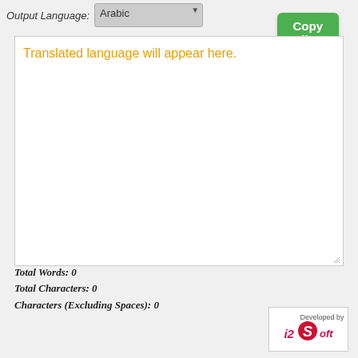Output Language: Arabic
Copy All
Translated language will appear here.
Total Words: 0
Total Characters: 0
Characters (Excluding Spaces): 0
[Figure (logo): Developed by i2Soft logo with red swirl S graphic]